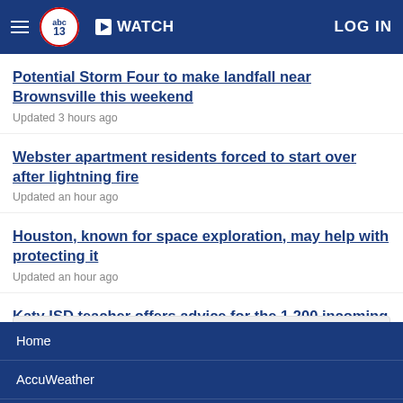abc13 | WATCH | LOG IN
Potential Storm Four to make landfall near Brownsville this weekend
Updated 3 hours ago
Webster apartment residents forced to start over after lightning fire
Updated an hour ago
Houston, known for space exploration, may help with protecting it
Updated an hour ago
Katy ISD teacher offers advice for the 1,200 incoming educators
Updated 2 hours ago
SHOW MORE ▼
Home
AccuWeather